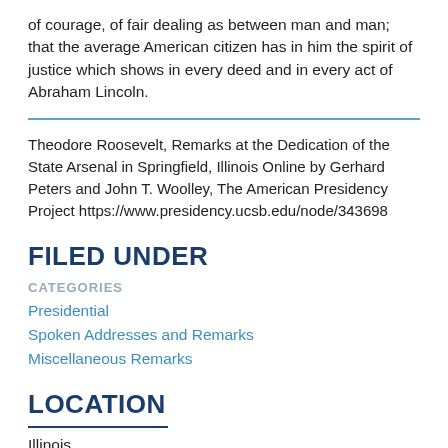of courage, of fair dealing as between man and man; that the average American citizen has in him the spirit of justice which shows in every deed and in every act of Abraham Lincoln.
Theodore Roosevelt, Remarks at the Dedication of the State Arsenal in Springfield, Illinois Online by Gerhard Peters and John T. Woolley, The American Presidency Project https://www.presidency.ucsb.edu/node/343698
FILED UNDER
CATEGORIES
Presidential
Spoken Addresses and Remarks
Miscellaneous Remarks
LOCATION
Illinois